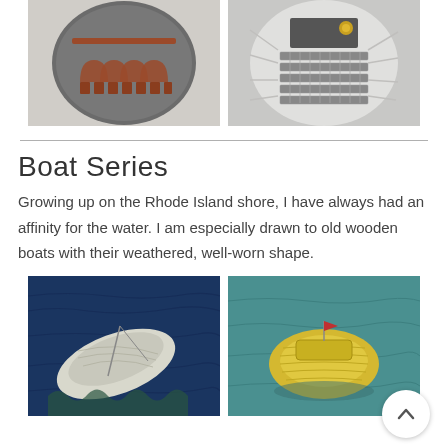[Figure (photo): Two ceramic/metal art pieces side by side — left: dark gray circular ceramic piece with arch/bridge design in reddish clay; right: white round metal piece with grid of rectangular elements and gold mechanical part at top]
[Figure (photo): Two boat paintings side by side — left: dark blue impressionistic painting of a white wooden rowboat on water; right: teal/yellow painting of a boat viewed from above on water, with scroll-to-top button overlaid at lower right]
Boat Series
Growing up on the Rhode Island shore, I have always had an affinity for the water. I am especially drawn to old wooden boats with their weathered, well-worn shape.